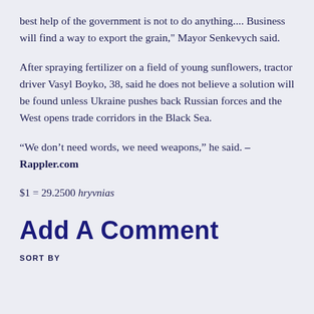best help of the government is not to do anything.... Business will find a way to export the grain," Mayor Senkevych said.
After spraying fertilizer on a field of young sunflowers, tractor driver Vasyl Boyko, 38, said he does not believe a solution will be found unless Ukraine pushes back Russian forces and the West opens trade corridors in the Black Sea.
“We don’t need words, we need weapons,” he said. – Rappler.com
$1 = 29.2500 hryvnias
Add A Comment
SORT BY